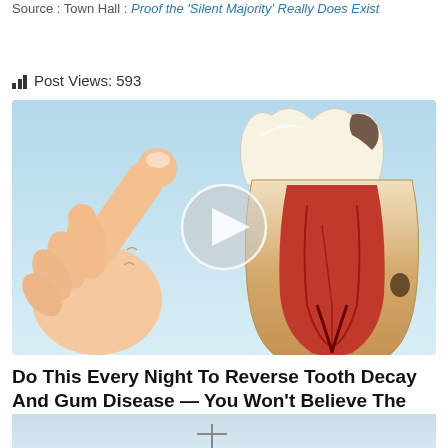Source : Town Hall : Proof the 'Silent Majority' Really Does Exist
Post Views: 593
[Figure (illustration): Illustration of a hand pointing finger at a cross-section diagram of a tooth showing internal anatomy with red pulp canal, surrounded by a light blue background. A circular play button overlay is centered on the image.]
Do This Every Night To Reverse Tooth Decay And Gum Disease — You Won't Believe The Results
[Figure (photo): Partial view of another image at the bottom of the page, showing a light blue/grey background with partial view of what appears to be a person or object.]